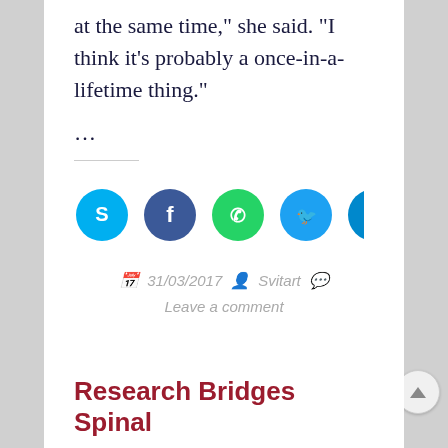at the same time,” she said. “I think it’s probably a once-in-a-lifetime thing.”
…
[Figure (infographic): Five social media share buttons: Skype (blue), Facebook (dark blue), WhatsApp (green), Twitter (light blue), Telegram (blue)]
31/03/2017   Svitart
Leave a comment
Research Bridges Spinal